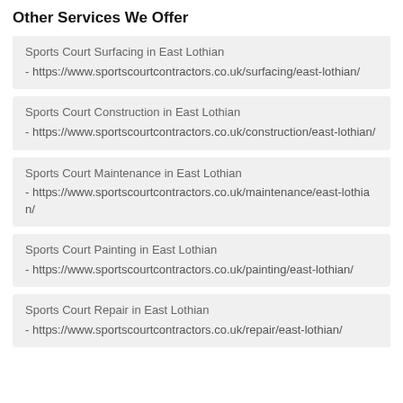Other Services We Offer
Sports Court Surfacing in East Lothian
- https://www.sportscourtcontractors.co.uk/surfacing/east-lothian/
Sports Court Construction in East Lothian
- https://www.sportscourtcontractors.co.uk/construction/east-lothian/
Sports Court Maintenance in East Lothian
- https://www.sportscourtcontractors.co.uk/maintenance/east-lothian/
Sports Court Painting in East Lothian
- https://www.sportscourtcontractors.co.uk/painting/east-lothian/
Sports Court Repair in East Lothian
- https://www.sportscourtcontractors.co.uk/repair/east-lothian/